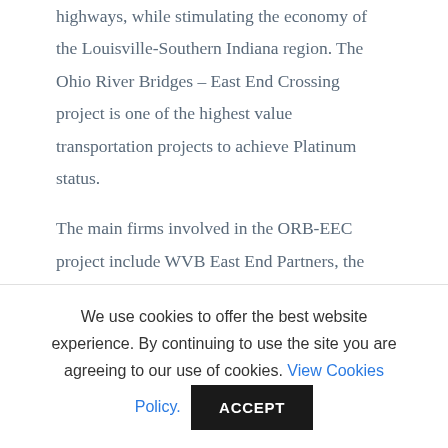highways, while stimulating the economy of the Louisville-Southern Indiana region. The Ohio River Bridges – East End Crossing project is one of the highest value transportation projects to achieve Platinum status.
The main firms involved in the ORB-EEC project include WVB East End Partners, the Public-Private Partnership (P3) developer; Walsh-VINCI Construction, WVB East End Partners' design-build contractor; and Parsons the…
We use cookies to offer the best website experience. By continuing to use the site you are agreeing to our use of cookies. View Cookies Policy. ACCEPT